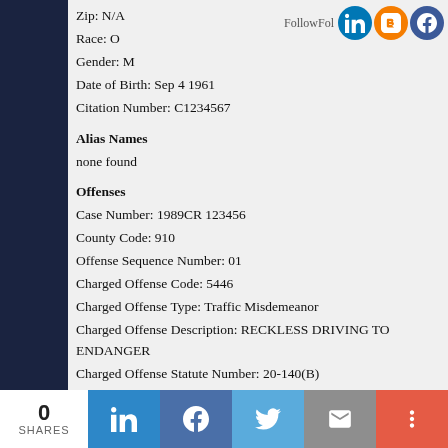Zip: N/A
Race: O
Gender: M
Date of Birth: Sep 4 1961
Citation Number: C1234567
Alias Names
none found
Offenses
Case Number: 1989CR 123456
County Code: 910
Offense Sequence Number: 01
Charged Offense Code: 5446
Charged Offense Type: Traffic Misdemeanor
Charged Offense Description: RECKLESS DRIVING TO ENDANGER
Charged Offense Statute Number: 20-140(B)
Convicted Offense Code: 5446
Convicted Offense Type: Traffic Misdemeanor
Convicted Offense Description: RECKLESS DRIVING TO ENDANGER
Convicted Offense Statute Number: 20-140(B)
Plea Code: NG
Verdict Code: GU
Method of Disposition Code: JU
0 SHARES | LinkedIn | Facebook | Twitter | Email | More